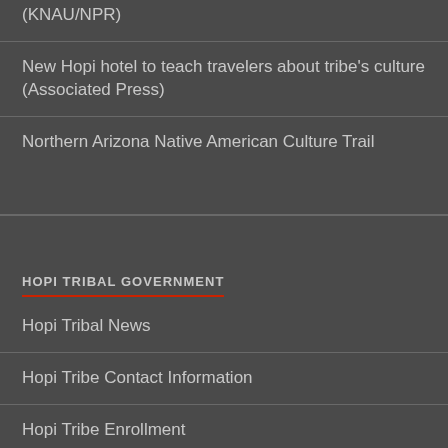(KNAU/NPR)
New Hopi hotel to teach travelers about tribe's culture (Associated Press)
Northern Arizona Native American Culture Trail
HOPI TRIBAL GOVERNMENT
Hopi Tribal News
Hopi Tribe Contact Information
Hopi Tribe Enrollment